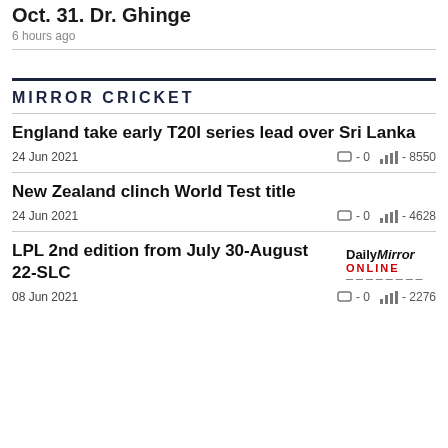Oct. 31. Dr. Ghinge
6 hours ago
MIRROR CRICKET
England take early T20I series lead over Sri Lanka
24 Jun 2021  □ - 0  ▐▐▐ - 8550
New Zealand clinch World Test title
24 Jun 2021  □ - 0  ▐▐▐ - 4628
LPL 2nd edition from July 30-August 22-SLC
08 Jun 2021  □ - 0  ▐▐▐ - 2276